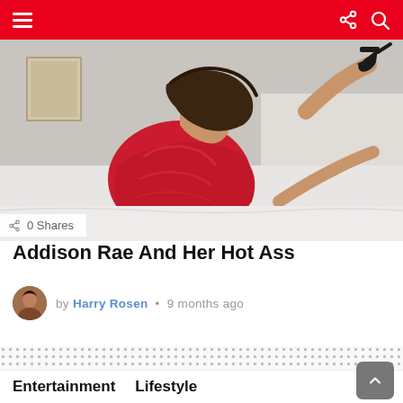Navigation header with hamburger menu, share icon, and search icon
[Figure (photo): Woman in red leather dress posing on bed, viewed from behind, wearing black high heels]
0 Shares
Addison Rae And Her Hot Ass
by Harry Rosen • 9 months ago
[Figure (other): Advertisement placeholder shown as dotted grid pattern]
Entertainment   Lifestyle